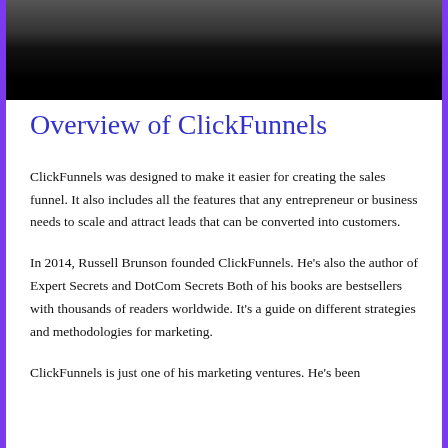[Figure (photo): Partial photo of a person with dark background and black strip at bottom]
Overview of ClickFunnels
ClickFunnels was designed to make it easier for creating the sales funnel. It also includes all the features that any entrepreneur or business needs to scale and attract leads that can be converted into customers.
In 2014, Russell Brunson founded ClickFunnels. He’s also the author of Expert Secrets and DotCom Secrets Both of his books are bestsellers with thousands of readers worldwide. It’s a guide on different strategies and methodologies for marketing.
ClickFunnels is just one of his marketing ventures. He’s been